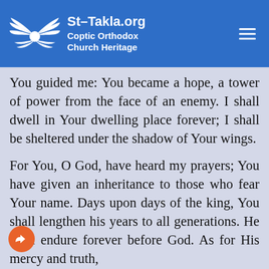St-Takla.org Coptic Orthodox Church Heritage
You guided me: You became a hope, a tower of power from the face of an enemy. I shall dwell in Your dwelling place forever; I shall be sheltered under the shadow of Your wings.
For You, O God, have heard my prayers; You have given an inheritance to those who fear Your name. Days upon days of the king, You shall lengthen his years to all generations. He shall endure forever before God. As for His mercy and truth,